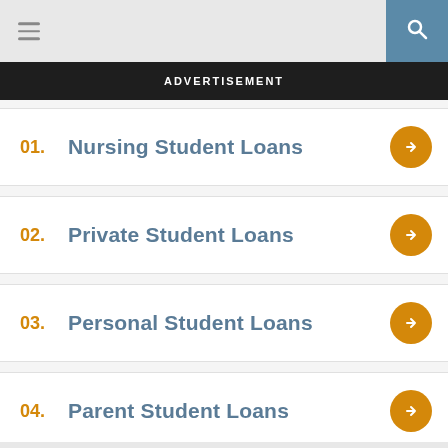ADVERTISEMENT
01. Nursing Student Loans
02. Private Student Loans
03. Personal Student Loans
04. Parent Student Loans